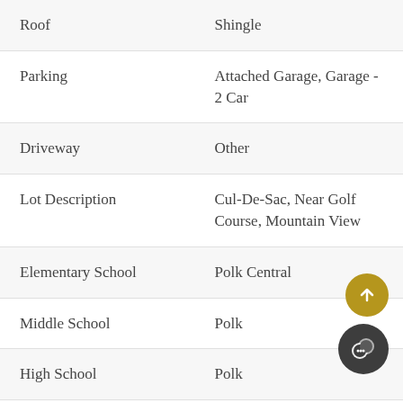| Field | Value |
| --- | --- |
| Roof | Shingle |
| Parking | Attached Garage, Garage - 2 Car |
| Driveway | Other |
| Lot Description | Cul-De-Sac, Near Golf Course, Mountain View |
| Elementary School | Polk Central |
| Middle School | Polk |
| High School | Polk |
| New Construction | Yes |
| Construction | Proposed |